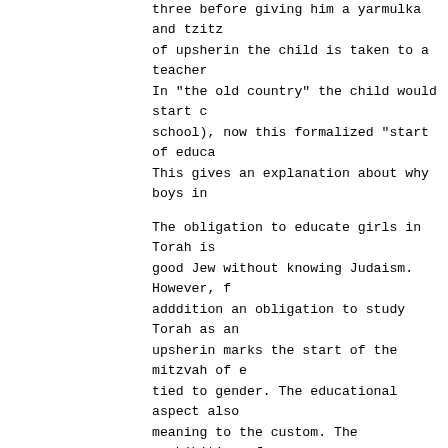three before giving him a yarmulka and tzitz of upsherin the child is taken to a teacher In "the old country" the child would start c school), now this formalized "start of educa This gives an explanation about why boys in
The obligation to educate girls in Torah is good Jew without knowing Judaism. However, f adddition an obligation to study Torah as an upsherin marks the start of the mitzvah of e tied to gender. The educational aspect also meaning to the custom. The prohibition of us is called "arlah". The same word used for an Circumcision is commonly used as a symbol of in Jewish tradition, and in Paul's letters w "circumcision of the heart". Here we see "ci head, removing the "arlah", as a preparation change in self image of the haircut and star yarmulka, and upsherin becomes a rite of pas childhood.